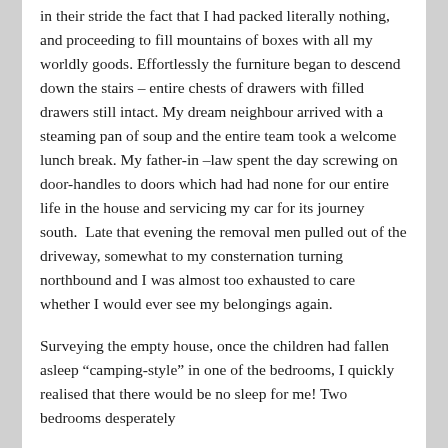in their stride the fact that I had packed literally nothing, and proceeding to fill mountains of boxes with all my worldly goods. Effortlessly the furniture began to descend down the stairs – entire chests of drawers with filled drawers still intact. My dream neighbour arrived with a steaming pan of soup and the entire team took a welcome lunch break. My father-in –law spent the day screwing on door-handles to doors which had had none for our entire life in the house and servicing my car for its journey south.  Late that evening the removal men pulled out of the driveway, somewhat to my consternation turning northbound and I was almost too exhausted to care whether I would ever see my belongings again.
Surveying the empty house, once the children had fallen asleep “camping-style” in one of the bedrooms, I quickly realised that there would be no sleep for me! Two bedrooms desperately